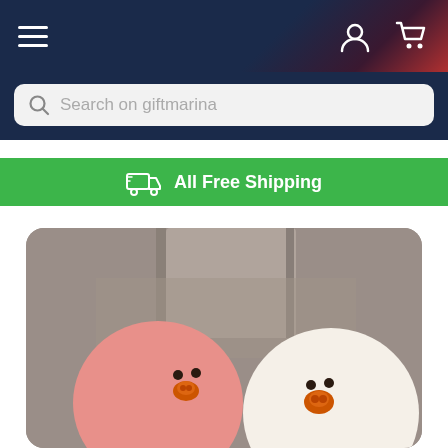Navigation bar with hamburger menu, user icon, and cart icon
Search on giftmarina
All Free Shipping
[Figure (photo): Two round chick-shaped toys/lamps on a grey fabric background. Left one is pink/salmon colored with small dot eyes and an orange beak. Right one is white/cream colored with small dot eyes and an orange beak. Both resemble cute bird characters.]